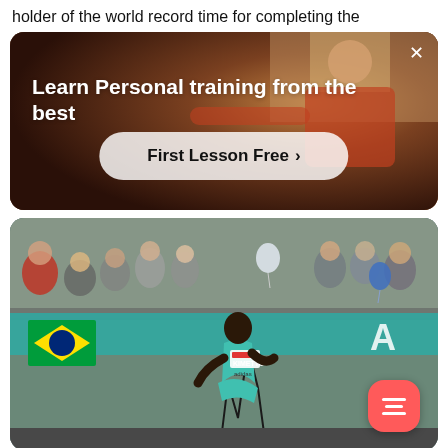holder of the world record time for completing the
[Figure (photo): Advertisement banner with a person doing exercises in background. Text reads 'Learn Personal training from the best' with a button 'First Lesson Free >']
[Figure (photo): Marathon runner with bib name KIMETTO running through a street lined with spectators, Brazilian flag visible, teal sponsor banner in background, floating menu button bottom right]